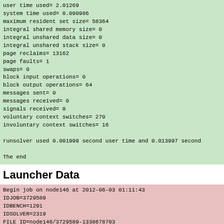user time used= 2.01269
system time used= 0.090986
maximum resident set size= 58364
integral shared memory size= 0
integral unshared data size= 0
integral unshared stack size= 0
page reclaims= 13162
page faults= 1
swaps= 0
block input operations= 0
block output operations= 64
messages sent= 0
messages received= 0
signals received= 0
voluntary context switches= 270
involuntary context switches= 16

runsolver used 0.001999 second user time and 0.013997 second

The end
Launcher Data
Begin job on node146 at 2012-06-03 01:11:43
IDJOB=3729589
IDBENCH=1291
IDSOLVER=2319
FILE ID=node146/3729589-1338678703
RUNJOBID= node146-1338678624-28239
PBS_JOBID= 14636667
Free space on /tmp= 70908 MiB